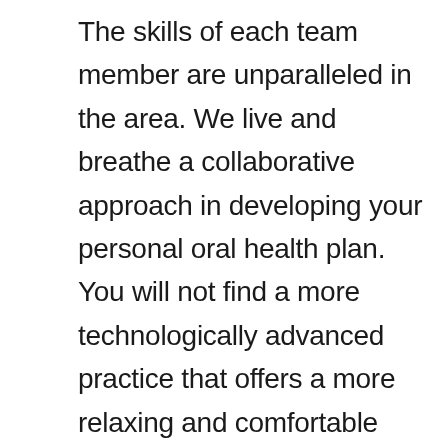The skills of each team member are unparalleled in the area. We live and breathe a collaborative approach in developing your personal oral health plan. You will not find a more technologically advanced practice that offers a more relaxing and comfortable setting. Your smile is our priority because we all strongly believe that your smile is a foundational gateway to your personality. It can drive your level of self-esteem and self-confidence. Call, text, or email us for an appointment for an evaluation on the benefits of an All-on-4 dental implant restoration for you. Our number is 605-323-1320 and you can find the entire team at Karmazin Dental, 5701 S. Remington Pl, Sioux Fall, SD 57108, where we